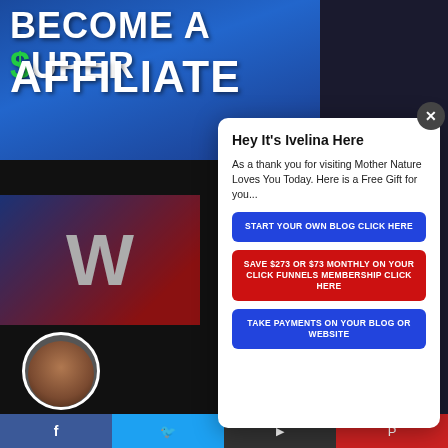[Figure (screenshot): Background banner with text 'BECOME A $UPER AFFILIATE' in white and green on blue gradient background]
Hey It's Ivelina Here
As a thank you for visiting Mother Nature Loves You Today.  Here is a Free Gift for you...
START YOUR OWN BLOG CLICK HERE
SAVE $273 OR $73 MONTHLY ON YOUR CLICK FUNNELS MEMBERSHIP CLICK HERE
TAKE PAYMENTS ON YOUR BLOG OR WEBSITE